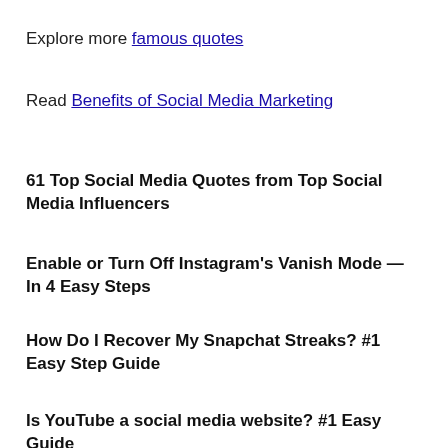Explore more famous quotes
Read Benefits of Social Media Marketing
61 Top Social Media Quotes from Top Social Media Influencers
Enable or Turn Off Instagram's Vanish Mode — In 4 Easy Steps
How Do I Recover My Snapchat Streaks? #1 Easy Step Guide
Is YouTube a social media website? #1 Easy Guide